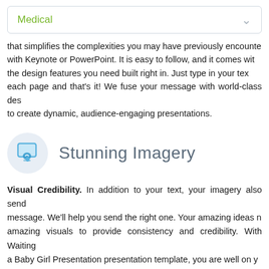Medical
that simplifies the complexities you may have previously encountered with Keynote or PowerPoint. It is easy to follow, and it comes with the design features you need built right in. Just type in your text each page and that's it! We fuse your message with world-class design to create dynamic, audience-engaging presentations.
Stunning Imagery
Visual Credibility. In addition to your text, your imagery also sends a message. We'll help you send the right one. Your amazing ideas need amazing visuals to provide consistency and credibility. With Waiting a Baby Girl Presentation presentation template, you are well on your way to making the kind of impression you want to make.
3 Masters